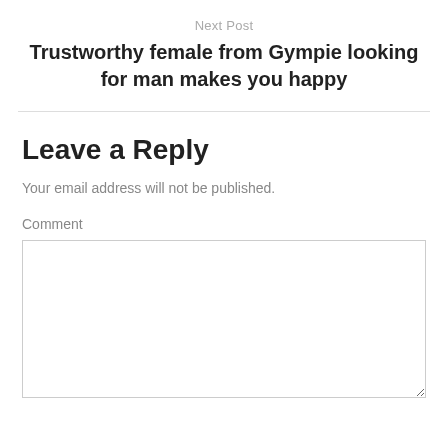Next Post
Trustworthy female from Gympie looking for man makes you happy
Leave a Reply
Your email address will not be published.
Comment